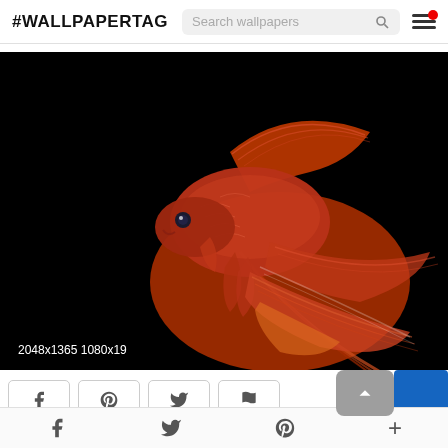#WALLPAPERTAG
[Figure (photo): Betta fish (Siamese fighting fish) with vivid red fins and flowing tail displayed against a black background. Resolution label reads: 2048x1365 1080x19]
2048x1365 1080x19